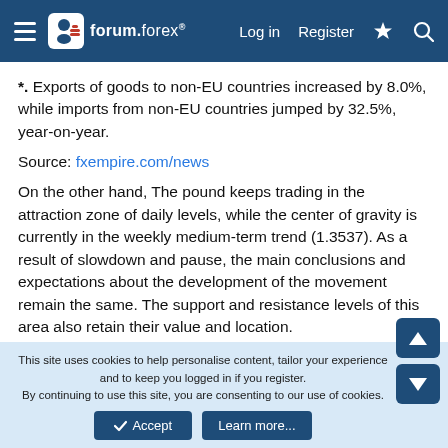forum.forex — Log in | Register
*. Exports of goods to non-EU countries increased by 8.0%, while imports from non-EU countries jumped by 32.5%, year-on-year.
Source: fxempire.com/news
On the other hand, The pound keeps trading in the attraction zone of daily levels, while the center of gravity is currently in the weekly medium-term trend (1.3537). As a result of slowdown and pause, the main conclusions and expectations about the development of the movement remain the same. The support and resistance levels of this area also retain their value and location.
This site uses cookies to help personalise content, tailor your experience and to keep you logged in if you register. By continuing to use this site, you are consenting to our use of cookies.